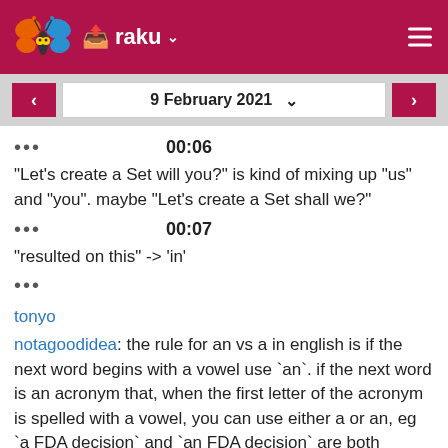raku
9 February 2021
00:06
"Let's create a Set will you?" is kind of mixing up "us" and "you". maybe "Let's create a Set shall we?"
00:07
"resulted on this" -> 'in'
tonyo
notagoodidea: the rule for an vs a in english is if the next word begins with a vowel use `an`. if the next word is an acronym that, when the first letter of the acronym is spelled with a vowel, you can use either a or an, eg `a FDA decision` and `an FDA decision` are both correct